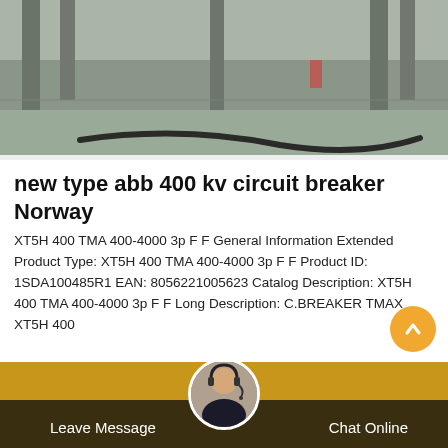[Figure (photo): Outdoor industrial/substation area with concrete pillars and a dark cable/hose on the ground, muted grey-green tones.]
new type abb 400 kv circuit breaker Norway
XT5H 400 TMA 400-4000 3p F F General Information Extended Product Type: XT5H 400 TMA 400-4000 3p F F Product ID: 1SDA100485R1 EAN: 8056221005623 Catalog Description: XT5H 400 TMA 400-4000 3p F F Long Description: C.BREAKER TMAX XT5H 400
Leave Message   Chat Online